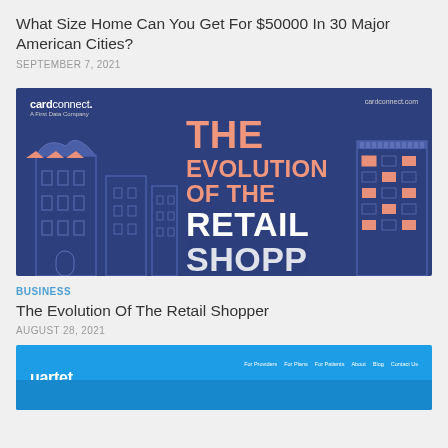What Size Home Can You Get For $50000 In 30 Major American Cities?
SEPTEMBER 7, 2021
[Figure (illustration): CardConnect branded infographic banner with dark blue background showing illustrated city buildings on left and right, and large text reading 'THE EVOLUTION OF THE RETAIL SHOPPER' in salmon/white text. CardConnect logo top left, cardconnect.com top right.]
BUSINESS
The Evolution Of The Retail Shopper
AUGUST 28, 2021
[Figure (screenshot): Partial screenshot of Quartet website with blue background, showing 'quartet' logo on left and navigation links: For Providers, For Plans, For Patients, About, Blog, Contact Us on top right.]